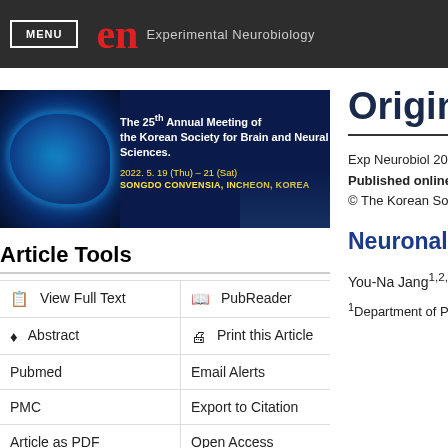MENU | en Experimental Neurobiology
[Figure (illustration): Banner for The 25th Annual Meeting of the Korean Society for Brain and Neural Sciences. 2022. 5. 19 (Thu) - 21 (Sat), Songdo Convensia, Incheon, Korea. Dark blue background with glowing brain graphic on left and cityscape on right.]
Article Tools
| View Full Text | PubReader |
| Abstract | Print this Article |
| Pubmed | Email Alerts |
| PMC | Export to Citation |
| Article as PDF | Open Access |
Original
Exp Neurobiol 2007;
Published online December...
© The Korean Society...
Neuronal Adh
You-Na Jang1,2,3, Yi-S
1Department of Physi Sciences, Ajou Unive